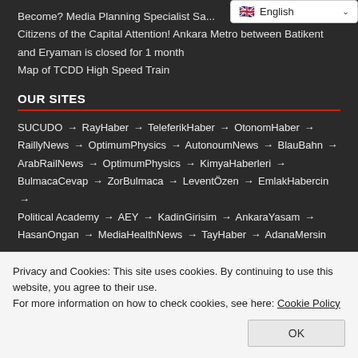Become? Media Planning Specialist Sa...
Citizens of the Capital Attention! Ankara Metro between Batikent and Eryaman is closed for 1 month
Map of TCDD High Speed Train
OUR SITES
SUCUDO → RayHaber → TeleferikHaber → OtonomHaber → RaillyNews → OptimumPhysics → AutonoumNews → BlauBahn → ArabRailNews → OptimumPhysics → KimyaHaberleri → BulmacaCevap → ZorBulmaca → LeventÖzen → EmlakHabercin → Political Academy → AEY → KadinGirisim → AnkaraYasam → HasanOngan → MediaHealthNews → TayHaber → AdanaMersin → HatayNews → BlauAutonom → MerhabaIzmir → CaravanNews
Privacy and Cookies: This site uses cookies. By continuing to use this website, you agree to their use.
For more information on how to check cookies, see here: Cookie Policy